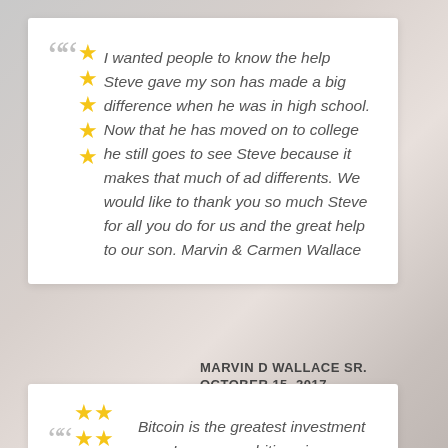" ★★★★★ I wanted people to know the help Steve gave my son has made a big difference when he was in high school. Now that he has moved on to college he still goes to see Steve because it makes that much of ad differents. We would like to thank you so much Steve for all you do for us and the great help to our son. Marvin & Carmen Wallace
MARVIN D WALLACE SR.
OCTOBER 15, 2017
" ★★★★★ Bitcoin is the greatest investment ever I was so ambitious in